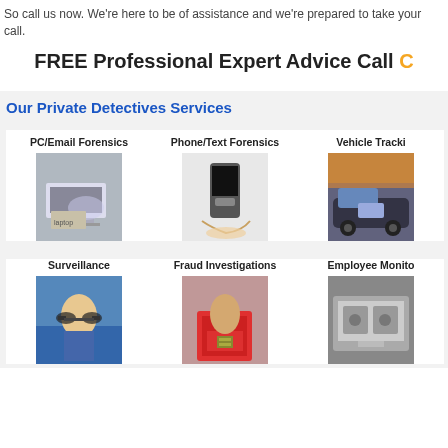So call us now. We're here to be of assistance and we're prepared to take your call.
FREE Professional Expert Advice Call
Our Private Detectives Services
[Figure (photo): PC/Email Forensics - person typing on laptop]
[Figure (photo): Phone/Text Forensics - hand holding flip phone]
[Figure (photo): Vehicle Tracking - car interior dashboard, taxi in background]
[Figure (photo): Surveillance - person with binoculars]
[Figure (photo): Fraud Investigations - person holding red bag, money]
[Figure (photo): Employee Monitoring - grayscale office equipment]